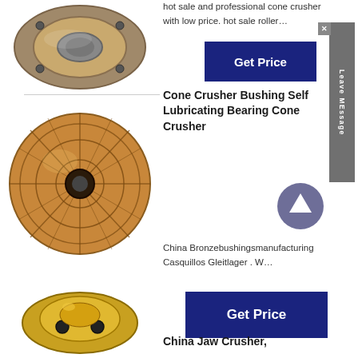[Figure (photo): Metal cone crusher bushing part - cylindrical bronze/steel bushing with holes, top view]
hot sale and professional cone crusher with low price. hot sale roller…
[Figure (other): Get Price button - dark blue rectangular button]
[Figure (other): Leave MEssage side tab - grey vertical tab with X close button]
[Figure (photo): Cone crusher bushing self lubricating bearing - circular bronze disc with grid pattern and center hole]
Cone Crusher Bushing Self Lubricating Bearing Cone Crusher
[Figure (other): Scroll to top circular arrow button]
China Bronzebushingsmanufacturing Casquillos Gleitlager . W…
[Figure (other): Get Price button - dark blue rectangular button]
[Figure (photo): China Jaw Crusher part - golden/bronze mechanical part, partially visible]
China Jaw Crusher,